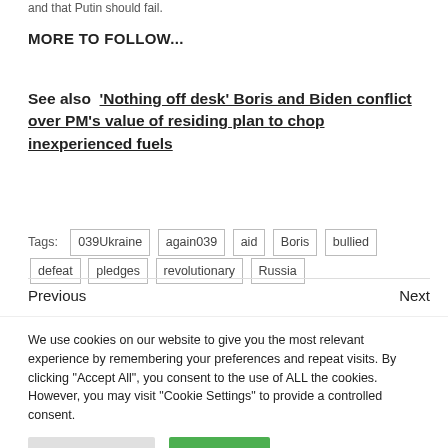and that Putin should fail.
MORE TO FOLLOW...
See also  'Nothing off desk' Boris and Biden conflict over PM's value of residing plan to chop inexperienced fuels
Tags:  039Ukraine  again039  aid  Boris  bullied  defeat  pledges  revolutionary  Russia
Previous    Next
We use cookies on our website to give you the most relevant experience by remembering your preferences and repeat visits. By clicking "Accept All", you consent to the use of ALL the cookies. However, you may visit "Cookie Settings" to provide a controlled consent.